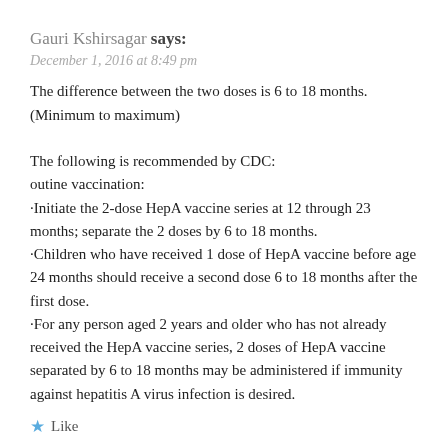Gauri Kshirsagar says:
December 1, 2016 at 8:49 pm
The difference between the two doses is 6 to 18 months. (Minimum to maximum)

The following is recommended by CDC:
outine vaccination:
·Initiate the 2-dose HepA vaccine series at 12 through 23 months; separate the 2 doses by 6 to 18 months.
·Children who have received 1 dose of HepA vaccine before age 24 months should receive a second dose 6 to 18 months after the first dose.
·For any person aged 2 years and older who has not already received the HepA vaccine series, 2 doses of HepA vaccine separated by 6 to 18 months may be administered if immunity against hepatitis A virus infection is desired.
★ Like